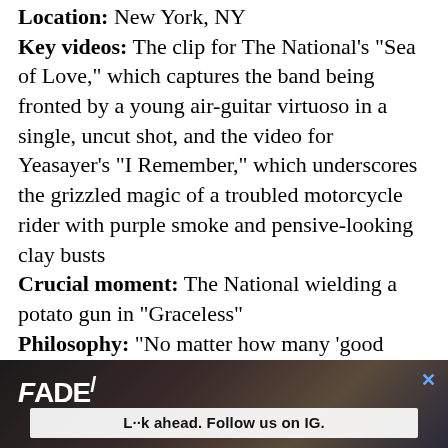Location: New York, NY
Key videos: The clip for The National's “Sea of Love,” which captures the band being fronted by a young air-guitar virtuoso in a single, uncut shot, and the video for Yeasayer’s “I Remember,” which underscores the grizzled magic of a troubled motorcycle rider with purple smoke and pensive-looking clay busts
Crucial moment: The National wielding a potato gun in “Graceless”
Philosophy: “No matter how many ‘good decisions’ you make as a director, there’s a huge part of every project that comes from this weird place that doesn’t run on logic.”
[Figure (advertisement): FADER magazine advertisement with dark background showing people and text 'L··k ahead. Follow us on IG.']